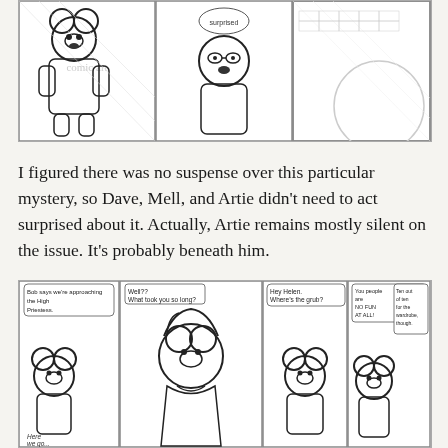[Figure (illustration): Three-panel black and white comic strip showing cartoon characters including a mouse-eared character and other figures]
I figured there was no suspense over this particular mystery, so Dave, Mell, and Artie didn't need to act surprised about it. Actually, Artie remains mostly silent on the issue. It's probably beneath him.
[Figure (illustration): Four-panel black and white comic strip. Panels show: characters approaching High Priestess; character asking 'Well?? What took you so long?'; character saying 'Hey Helen. Where's the grub?'; characters commenting 'You people are NO FUN AT ALL!' and 'Ten out of ten for the wardrobe, though.' with 'Here we go...' caption]
Aw, Helen ends up startling Dave after all. It's that high-cut sarong. I had to draw Dave's